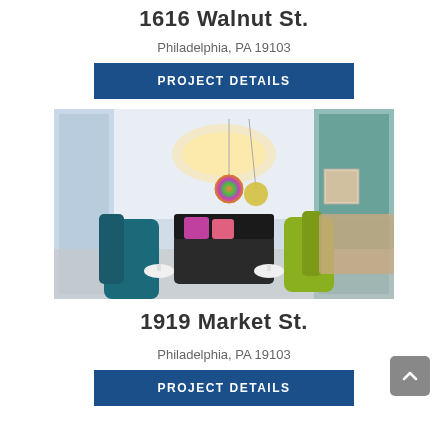1616 Walnut St.
Philadelphia, PA 19103
PROJECT DETAILS
[Figure (photo): Interior lobby/lounge area with modern furniture including teal and green chairs, black sofa with pink pillows, colorful hanging pendant lights, and modern ceiling design]
1919 Market St.
Philadelphia, PA 19103
PROJECT DETAILS